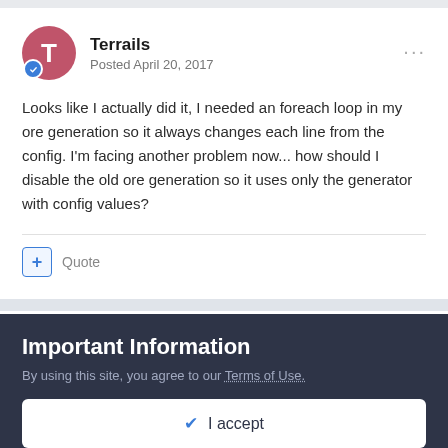Terrails
Posted April 20, 2017
Looks like I actually did it, I needed an foreach loop in my ore generation so it always changes each line from the config. I'm facing another problem now... how should I disable the old ore generation so it uses only the generator with config values?
Quote
Terrails
Important Information
By using this site, you agree to our Terms of Use.
✔ I accept